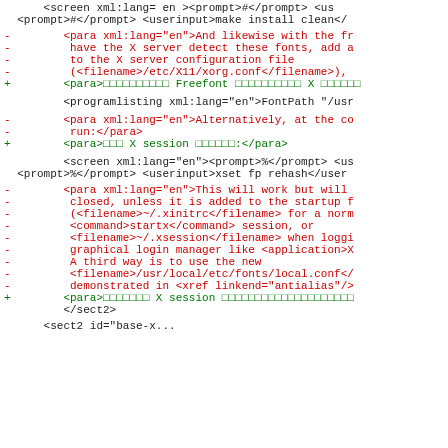<screen xml:lang= en ><prompt>#</prompt> <us
 <prompt>#</prompt> <userinput>make install clean</
- <para xml:lang="en">And likewise with the fr
- have the X server detect these fonts, add a
- to the X server configuration file
- (<filename>/etc/X11/xorg.conf</filename>),
+ <para>□□□□□□□□□□ Freefont □□□□□□□□□□ X □□□□□□
<programlisting xml:lang="en">FontPath "/usr
- <para xml:lang="en">Alternatively, at the co
- run:</para>
+ <para>□□□ X session □□□□□□:</para>
<screen xml:lang="en"><prompt>%</prompt> <us
 <prompt>%</prompt> <userinput>xset fp rehash</user
- <para xml:lang="en">This will work but will
- closed, unless it is added to the startup f
- (<filename>~/.xinitrc</filename> for a norm
- <command>startx</command> session, or
- <filename>~/.xsession</filename> when loggi
- graphical login manager like <application>X
- A third way is to use the new
- <filename>/usr/local/etc/fonts/local.conf</
- demonstrated in <xref linkend="antialias"/>
+ <para>□□□□□□□ X session □□□□□□□□□□□□□□□□□□□□
 </sect2>
<sect2 id="base-x...